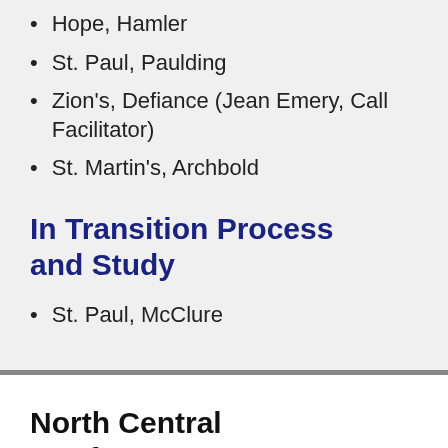Hope, Hamler
St. Paul, Paulding
Zion's, Defiance (Jean Emery, Call Facilitator)
St. Martin's, Archbold
In Transition Process and Study
St. Paul, McClure
North Central Conference – Mary